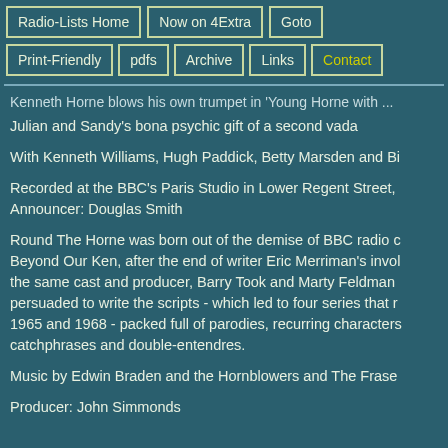Radio-Lists Home | Now on 4Extra | Goto | Print-Friendly | pdfs | Archive | Links | Contact
Kenneth Horne blows his own trumpet in 'Young Horne with ...'
Julian and Sandy's bona psychic gift of a second vada
With Kenneth Williams, Hugh Paddick, Betty Marsden and Bi...
Recorded at the BBC's Paris Studio in Lower Regent Street,
Announcer: Douglas Smith
Round The Horne was born out of the demise of BBC radio c... Beyond Our Ken, after the end of writer Eric Merriman's invol... the same cast and producer, Barry Took and Marty Feldman ... persuaded to write the scripts - which led to four series that r... 1965 and 1968 - packed full of parodies, recurring characters... catchphrases and double-entendres.
Music by Edwin Braden and the Hornblowers and The Frase...
Producer: John Simmonds